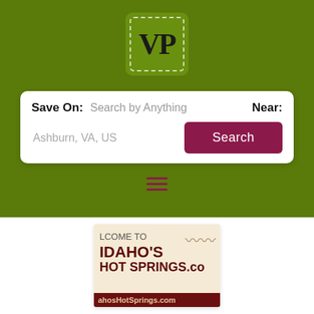[Figure (logo): VP logo — green square with dashed white border outline and bold VP letters]
[Figure (screenshot): Search bar UI with Save On / Near fields, Ashburn VA US location, and Search button]
[Figure (screenshot): Hamburger menu icon (three horizontal dark red lines)]
[Figure (illustration): Idaho's Hot Springs .com advertisement card with cream background, dark red text, and steam icon, showing partial text: COME TO IDAHO'S HOT SPRINGS.co and IdahosHotSprings.com]